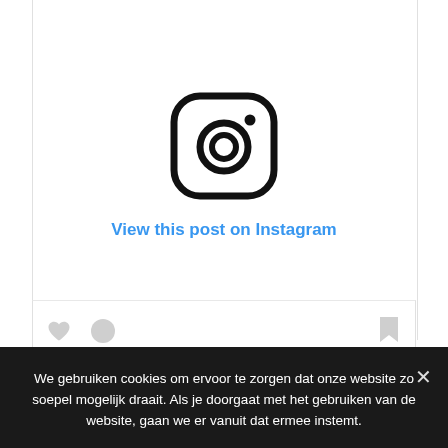[Figure (logo): Instagram logo icon — rounded square with camera lens circle and small dot in upper right]
View this post on Instagram
[Figure (other): Bottom icon bar with heart icon, comment/profile icon on the left and bookmark icon on the right, all in light grey]
We gebruiken cookies om ervoor te zorgen dat onze website zo soepel mogelijk draait. Als je doorgaat met het gebruiken van de website, gaan we er vanuit dat ermee instemt.